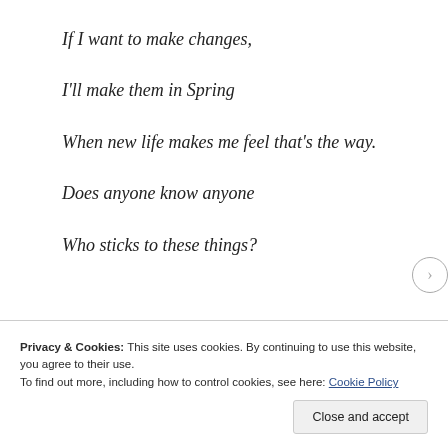If I want to make changes,
I'll make them in Spring
When new life makes me feel that's the way.
Does anyone know anyone
Who sticks to these things?
Privacy & Cookies: This site uses cookies. By continuing to use this website, you agree to their use.
To find out more, including how to control cookies, see here: Cookie Policy
Close and accept